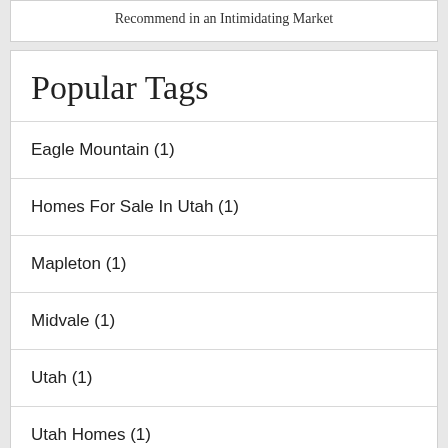Recommend in an Intimidating Market
Popular Tags
Eagle Mountain (1)
Homes For Sale In Utah (1)
Mapleton (1)
Midvale (1)
Utah (1)
Utah Homes (1)